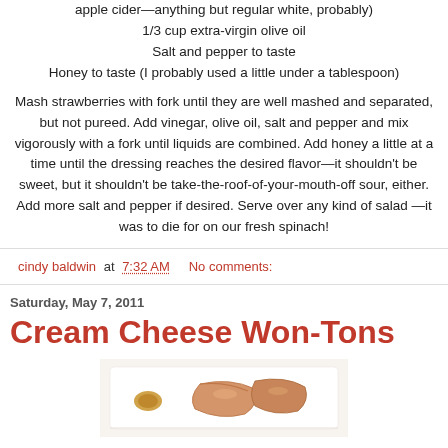apple cider—anything but regular white, probably)
1/3 cup extra-virgin olive oil
Salt and pepper to taste
Honey to taste (I probably used a little under a tablespoon)
Mash strawberries with fork until they are well mashed and separated, but not pureed. Add vinegar, olive oil, salt and pepper and mix vigorously with a fork until liquids are combined. Add honey a little at a time until the dressing reaches the desired flavor—it shouldn't be sweet, but it shouldn't be take-the-roof-of-your-mouth-off sour, either. Add more salt and pepper if desired. Serve over any kind of salad—it was to die for on our fresh spinach!
cindy baldwin at 7:32 AM   No comments:
Saturday, May 7, 2011
Cream Cheese Won-Tons
[Figure (photo): Photo of cream cheese won-tons on a white plate with dipping sauce]